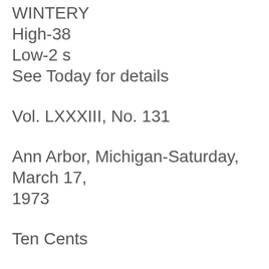WINTERY
High-38
Low-2 s
See Today for details
Vol. LXXXIII, No. 131
Ann Arbor, Michigan-Saturday, March 17, 1973
Ten Cents
Eight Pages